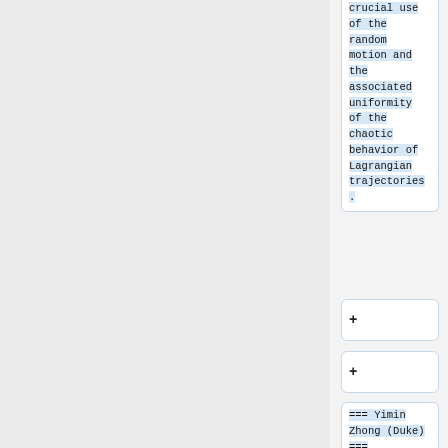crucial use of the random motion and the associated uniformity of the chaotic behavior of Lagrangian trajectories.
+
+
=== Yimin Zhong (Duke) ===
+